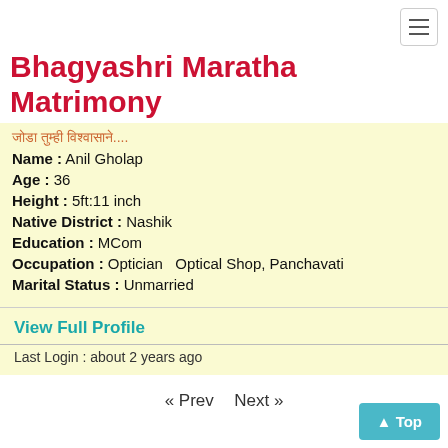[hamburger menu icon]
Bhagyashri Maratha Matrimony
जोडा तुम्ही विश्वासाने....
Name : Anil Gholap
Age : 36
Height : 5ft:11 inch
Native District : Nashik
Education : MCom
Occupation : Optician  Optical Shop, Panchavati
Marital Status : Unmarried
View Full Profile
Last Login : about 2 years ago
« Prev  Next »